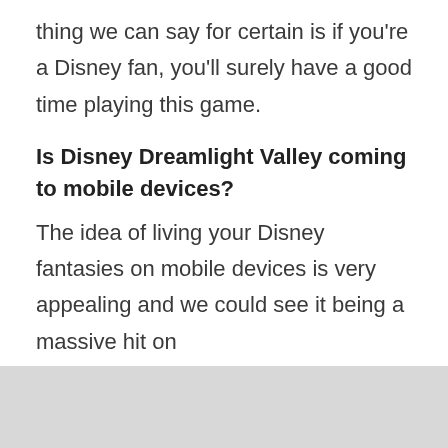thing we can say for certain is if you're a Disney fan, you'll surely have a good time playing this game.
Is Disney Dreamlight Valley coming to mobile devices?
The idea of living your Disney fantasies on mobile devices is very appealing and we could see it being a massive hit on